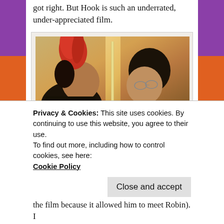got right. But Hook is such an underrated, under-appreciated film.
[Figure (photo): Two actors facing each other in a scene from the film Hook — one with a wild red mohawk hairstyle, the other wearing glasses, separated by a sword between them.]
— (from thewrap.com)
Privacy & Cookies: This site uses cookies. By continuing to use this website, you agree to their use.
To find out more, including how to control cookies, see here: Cookie Policy
the film because it allowed him to meet Robin). I